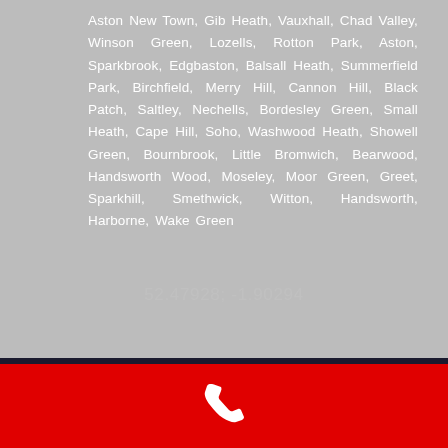Aston New Town, Gib Heath, Vauxhall, Chad Valley, Winson Green, Lozells, Rotton Park, Aston, Sparkbrook, Edgbaston, Balsall Heath, Summerfield Park, Birchfield, Merry Hill, Cannon Hill, Black Patch, Saltley, Nechells, Bordesley Green, Small Heath, Cape Hill, Soho, Washwood Heath, Showell Green, Bournbrook, Little Bromwich, Bearwood, Handsworth Wood, Moseley, Moor Green, Greet, Sparkhill, Smethwick, Witton, Handsworth, Harborne, Wake Green
52.47928; -1.90294
[Figure (illustration): White telephone/phone handset icon on red background]